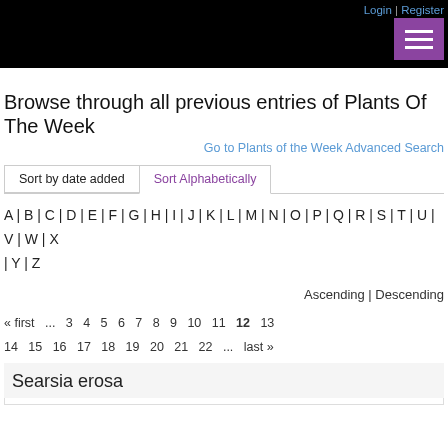Login | Register
[Figure (screenshot): Black navigation bar with purple hamburger menu button]
Browse through all previous entries of Plants Of The Week
Go to Plants of the Week Advanced Search
Sort by date added | Sort Alphabetically
A | B | C | D | E | F | G | H | I | J | K | L | M | N | O | P | Q | R | S | T | U | V | W | X | Y | Z
Ascending | Descending
« first ... 3 4 5 6 7 8 9 10 11 12 13 14 15 16 17 18 19 20 21 22 ... last »
Searsia erosa